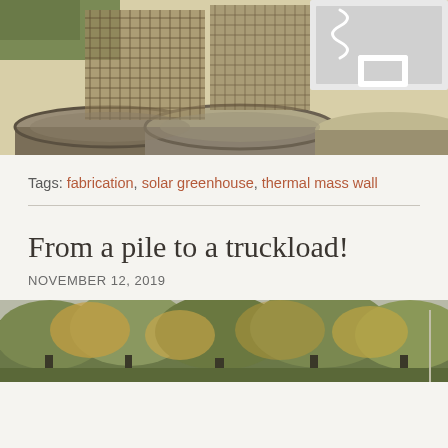[Figure (photo): Stacked rusty metal barrels/drums with wire mesh panels, viewed from above outdoors on grass]
Tags: fabrication, solar greenhouse, thermal mass wall
From a pile to a truckload!
NOVEMBER 12, 2019
[Figure (photo): Outdoor forest/wooded scene with trees showing autumn foliage]